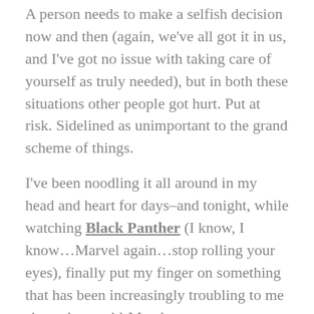A person needs to make a selfish decision now and then (again, we've all got it in us, and I've got no issue with taking care of yourself as truly needed), but in both these situations other people got hurt. Put at risk. Sidelined as unimportant to the grand scheme of things.
I've been noodling it all around in my head and heart for days–and tonight, while watching Black Panther (I know, I know…Marvel again…stop rolling your eyes), finally put my finger on something that has been increasingly troubling to me since about mid-March.